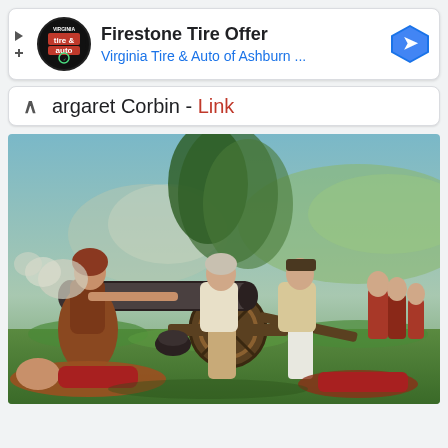[Figure (screenshot): Ad banner for Firestone Tire Offer from Virginia Tire & Auto of Ashburn with logo and navigation arrow icon]
Firestone Tire Offer
Virginia Tire & Auto of Ashburn ...
argaret Corbin - Link
[Figure (illustration): Historical painting depicting a Revolutionary War battle scene with a woman (Margaret Corbin) operating a cannon alongside soldiers, with fallen figures on the ground]